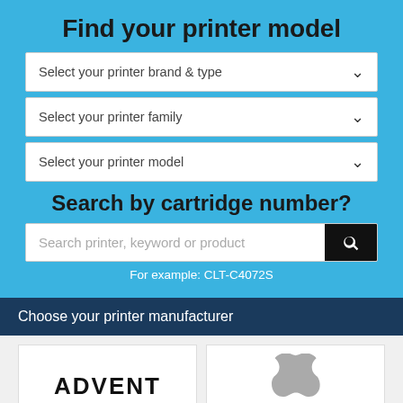Find your printer model
Select your printer brand & type
Select your printer family
Select your printer model
Search by cartridge number?
Search printer, keyword or product
For example: CLT-C4072S
Choose your printer manufacturer
[Figure (logo): ADVENT printer brand logo in bold black uppercase text]
[Figure (logo): Apple logo in grey]
[Figure (logo): Brother printer brand logo in blue text (partially visible)]
[Figure (logo): DTP/colorful logo partially visible]